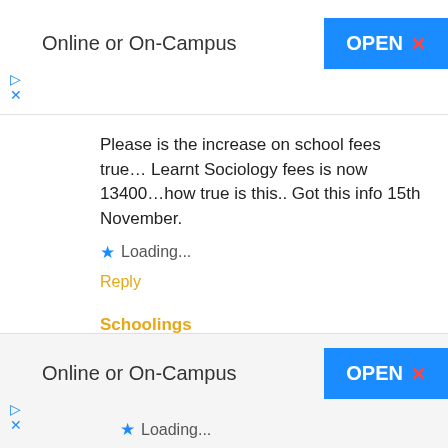[Figure (screenshot): Advertisement banner: 'Online or On-Campus' with blue OPEN button and red X close icon, and blue play/close icons below left]
Please is the increase on school fees true… Learnt Sociology fees is now 13400…how true is this.. Got this info 15th November.
★ Loading...
Reply
Schoolings
No information about increase in UNIBEN school fees yet. When we
[Figure (screenshot): Advertisement banner: 'Online or On-Campus' with blue OPEN button and red X close icon, and blue play/close icons below left, with Loading... row at bottom]